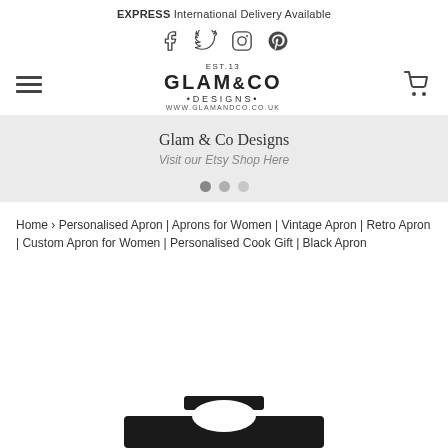EXPRESS International Delivery Available
[Figure (infographic): Social media icons: Facebook, Twitter, Instagram, Pinterest]
[Figure (logo): Glam & Co Designs logo with EST.13, GLAM&CO DESIGNS, www.glamandco.co.uk]
Glam & Co Designs
Visit our Etsy Shop Here
[Figure (infographic): Three slider dots: dark, medium, light grey]
Home › Personalised Apron | Aprons for Women | Vintage Apron | Retro Apron | Custom Apron for Women | Personalised Cook Gift | Black Apron
[Figure (photo): Partial view of a black apron top/neck strap visible at bottom of page]